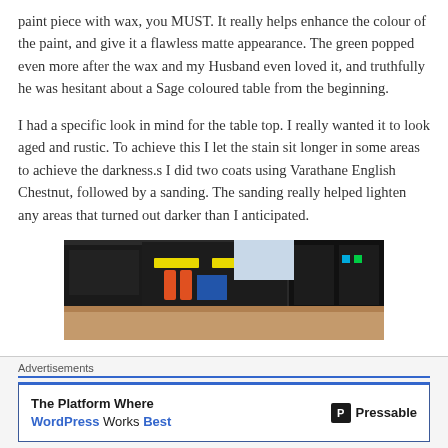paint piece with wax, you MUST. It really helps enhance the colour of the paint, and give it a flawless matte appearance. The green popped even more after the wax and my Husband even loved it, and truthfully he was hesitant about a Sage coloured table from the beginning.
I had a specific look in mind for the table top. I really wanted it to look aged and rustic. To achieve this I let the stain sit longer in some areas to achieve the darkness.s I did two coats using Varathane English Chestnut, followed by a sanding. The sanding really helped lighten any areas that turned out darker than I anticipated.
[Figure (photo): Photo of tools and supplies on a workbench/table surface, partially visible, showing a toolbox with yellow tape, various containers, and a tan/orange surface in the foreground.]
Advertisements
The Platform Where WordPress Works Best | Pressable